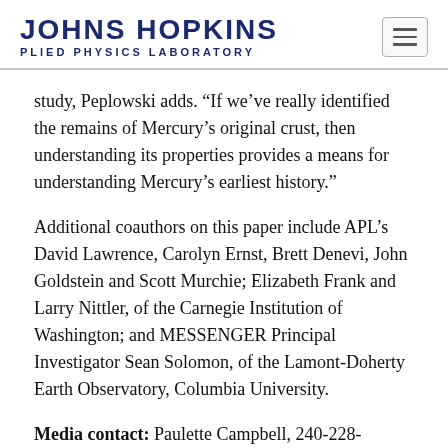JOHNS HOPKINS APPLIED PHYSICS LABORATORY
study, Peplowski adds. “If we’ve really identified the remains of Mercury’s original crust, then understanding its properties provides a means for understanding Mercury’s earliest history.”
Additional coauthors on this paper include APL’s David Lawrence, Carolyn Ernst, Brett Denevi, John Goldstein and Scott Murchie; Elizabeth Frank and Larry Nittler, of the Carnegie Institution of Washington; and MESSENGER Principal Investigator Sean Solomon, of the Lamont-Doherty Earth Observatory, Columbia University.
Media contact: Paulette Campbell, 240-228-